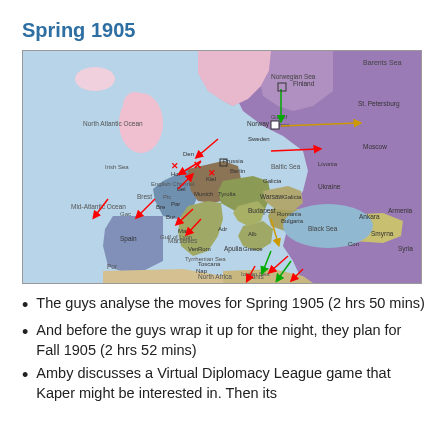Spring 1905
[Figure (map): A detailed map of Europe showing the game state for Spring 1905 in the board game Diplomacy. The map shows various territories colored by nation (purple for Russia, pink for England/Scandinavia, teal/green for Italy, dark olive for Germany/Austria, tan for Turkey/Ottoman, blue for France, sandy for North Africa). Arrows in red, yellow, green, and other colors indicate unit moves and attacks across the board. Labels include seas: Barents Sea, Norwegian Sea, North Atlantic Ocean, Irish Sea, English Channel, Mid-Atlantic Ocean, Baltic Sea, Black Sea, Gulf of Bothnia, Gulf of Lyon, Tyrrhenian Sea, Ionian Sea. Land regions labeled: Finland, St. Petersburg, Moscow, Latvia/Livonia, Warsaw, Ukraine, Galicia, Budapest, Romania, Bulgaria, Ankara, Armenia, Smyrna, Syria, North Africa, Tunis, and many others. Military unit symbols and conflict markers (X) appear across multiple territories.]
The guys analyse the moves for Spring 1905 (2 hrs 50 mins)
And before the guys wrap it up for the night, they plan for Fall 1905 (2 hrs 52 mins)
Amby discusses a Virtual Diplomacy League game that Kaper might be interested in. Then its